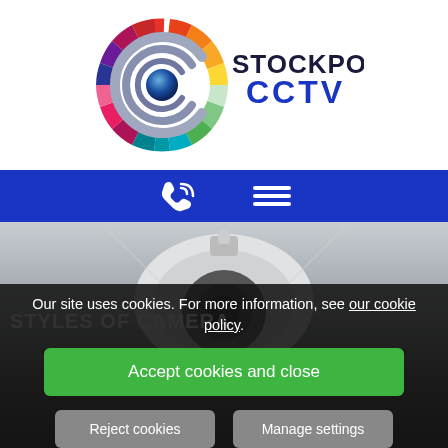[Figure (logo): Stockport CCTV logo with colorful circular C shape and text STOCKPORT CCTV]
[Figure (infographic): Blue navigation bar with phone icon and hamburger menu icon]
[Figure (photo): CCTV dome camera close-up photo background]
Our site uses cookies. For more information, see our cookie policy.
Accept cookies and close
STYLES OF CAMERA
Reject cookies
Manage settings